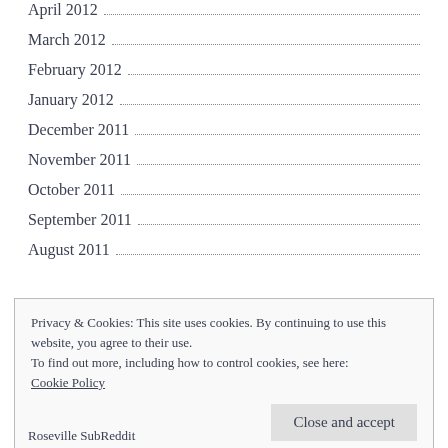April 2012
March 2012
February 2012
January 2012
December 2011
November 2011
October 2011
September 2011
August 2011
Privacy & Cookies: This site uses cookies. By continuing to use this website, you agree to their use.
To find out more, including how to control cookies, see here:
Cookie Policy
Close and accept
Roseville SubReddit